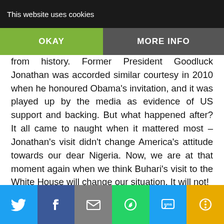This website uses cookies
from history. Former President Goodluck Jonathan was accorded similar courtesy in 2010 when he honoured Obama's invitation, and it was played up by the media as evidence of US support and backing. But what happened after? It all came to naught when it mattered most – Jonathan's visit didn't change America's attitude towards our dear Nigeria. Now, we are at that moment again when we think Buhari's visit to the White House will change our situation. It will not!
And as he did on his recent visit to the G7 summit in Germany, the president would probably have drawn up a wish list of demands – military and economic to make of Obama. I wish him luck. But I can assure him here that his wish list will remain just what it is – a wish list, because America won't provide us the